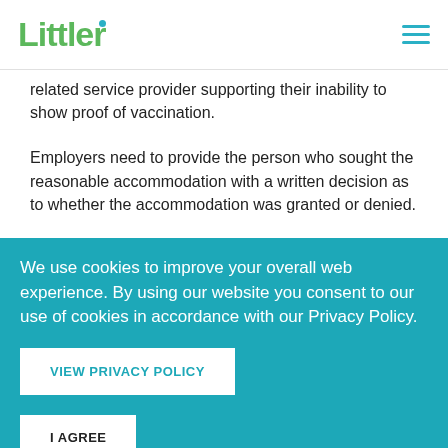Littler
related service provider supporting their inability to show proof of vaccination.
Employers need to provide the person who sought the reasonable accommodation with a written decision as to whether the accommodation was granted or denied.
The guidance notes that in some cases a covered employer may
We use cookies to improve your overall web experience. By using our website you consent to our use of cookies in accordance with our Privacy Policy.
VIEW PRIVACY POLICY
I AGREE